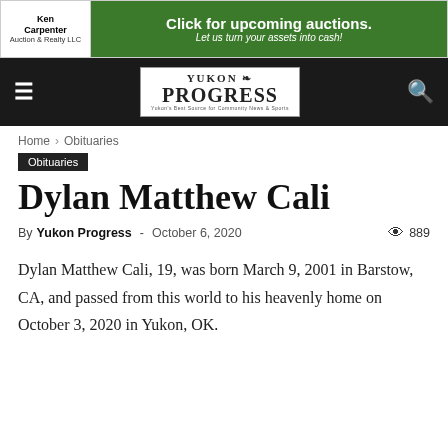[Figure (other): Ken Carpenter Auction & Realty LLC advertisement banner with green background: 'Click for upcoming auctions. Let us turn your assets into cash!']
[Figure (logo): Yukon Progress newspaper navigation bar with hamburger menu, logo, and search icon on black background]
Home › Obituaries
Obituaries
Dylan Matthew Cali
By Yukon Progress - October 6, 2020   👁 889
Dylan Matthew Cali, 19, was born March 9, 2001 in Barstow, CA, and passed from this world to his heavenly home on October 3, 2020 in Yukon, OK.